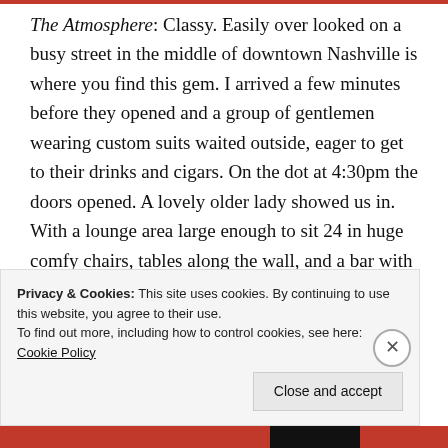The Atmosphere: Classy. Easily over looked on a busy street in the middle of downtown Nashville is where you find this gem. I arrived a few minutes before they opened and a group of gentlemen wearing custom suits waited outside, eager to get to their drinks and cigars. On the dot at 4:30pm the doors opened. A lovely older lady showed us in. With a lounge area large enough to sit 24 in huge comfy chairs, tables along the wall, and a bar with 8 beautiful bar stools, I had no trouble finding a place to sit. The whole building smelt like potpourri
Privacy & Cookies: This site uses cookies. By continuing to use this website, you agree to their use.
To find out more, including how to control cookies, see here: Cookie Policy